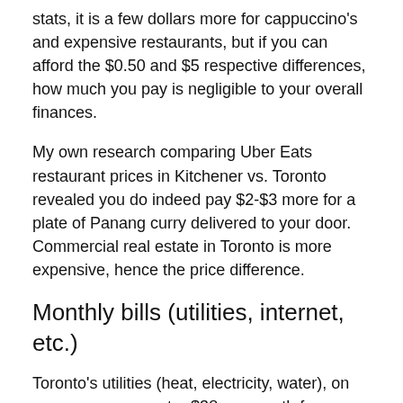stats, it is a few dollars more for cappuccino's and expensive restaurants, but if you can afford the $0.50 and $5 respective differences, how much you pay is negligible to your overall finances.
My own research comparing Uber Eats restaurant prices in Kitchener vs. Toronto revealed you do indeed pay $2-$3 more for a plate of Panang curry delivered to your door. Commercial real estate in Toronto is more expensive, hence the price difference.
Monthly bills (utilities, internet, etc.)
Toronto's utilities (heat, electricity, water), on average, are an extra $38 per month for a place of similar size in Kitchener. Internet is also apparently more expensive at $9 per month. But again, this is a problem you get sourcing data from individuals – someone could just be getting a better deal, especially when you consider we have a veritable